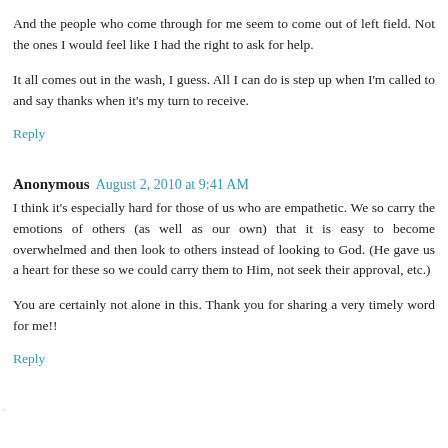And the people who come through for me seem to come out of left field. Not the ones I would feel like I had the right to ask for help.
It all comes out in the wash, I guess. All I can do is step up when I'm called to and say thanks when it's my turn to receive.
Reply
Anonymous  August 2, 2010 at 9:41 AM
I think it's especially hard for those of us who are empathetic. We so carry the emotions of others (as well as our own) that it is easy to become overwhelmed and then look to others instead of looking to God. (He gave us a heart for these so we could carry them to Him, not seek their approval, etc.)
You are certainly not alone in this. Thank you for sharing a very timely word for me!!
Reply